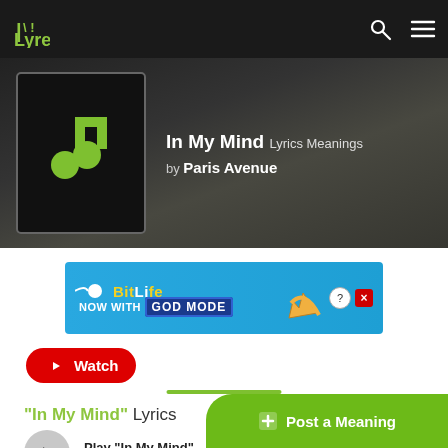Lyreka
[Figure (screenshot): Lyreka song page for 'In My Mind' by Paris Avenue showing album art with music note icon]
In My Mind Lyrics Meanings by Paris Avenue
[Figure (screenshot): BitLife advertisement banner - NOW WITH GOD MODE]
Watch
"In My Mind" Lyrics
Play "In My Mind" on Apple Music
Post a Meaning